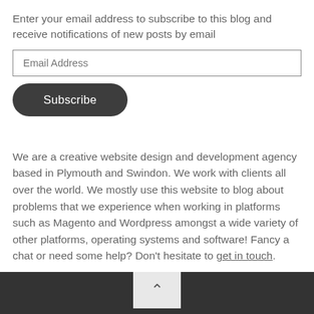Enter your email address to subscribe to this blog and receive notifications of new posts by email
Email Address
Subscribe
We are a creative website design and development agency based in Plymouth and Swindon. We work with clients all over the world. We mostly use this website to blog about problems that we experience when working in platforms such as Magento and Wordpress amongst a wide variety of other platforms, operating systems and software! Fancy a chat or need some help? Don’t hesitate to get in touch.
^ (back to top button)